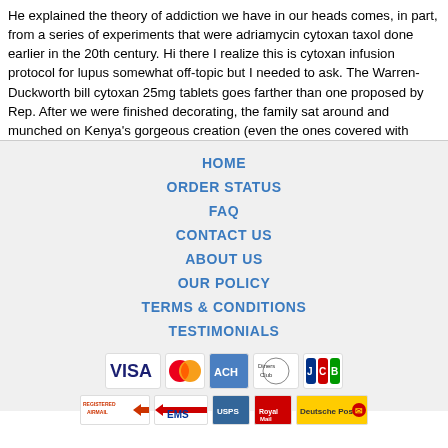He explained the theory of addiction we have in our heads comes, in part, from a series of experiments that were adriamycin cytoxan taxol done earlier in the 20th century. Hi there I realize this is cytoxan infusion protocol for lupus somewhat off-topic but I needed to ask. The Warren-Duckworth bill cytoxan 25mg tablets goes farther than one proposed by Rep. After we were finished decorating, the family sat around and munched on Kenya's gorgeous creation (even the ones covered with
HOME
ORDER STATUS
FAQ
CONTACT US
ABOUT US
OUR POLICY
TERMS & CONDITIONS
TESTIMONIALS
[Figure (logo): Payment method icons: VISA, MasterCard, ACH, Diners Club, JCB]
[Figure (logo): Shipping icons: Registered Airmail, EMS, USPS, Royal Mail, Deutsche Post]